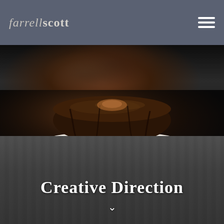farrellscott
[Figure (photo): Dark overhead photo of a chocolate cake on a white pedestal cake stand against a black background]
[Figure (photo): Man holding a large salmon fish in front of his face against a corrugated metal background, dark moody tones]
Creative Direction